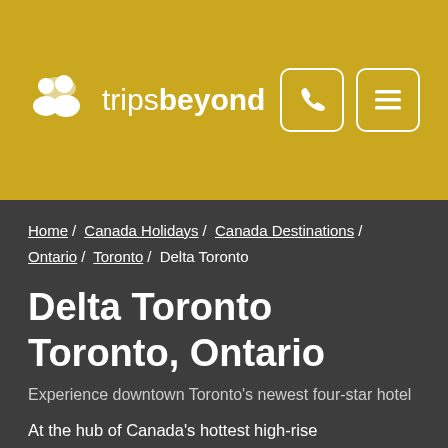trips beyond
Home / Canada Holidays / Canada Destinations / Ontario / Toronto / Delta Toronto
Delta Toronto
Toronto, Ontario
Experience downtown Toronto's newest four-star hotel
At the hub of Canada's hottest high-rise neighbourhood, SouthCore, the new Delta Toronto brings you to the intersection of downtown's vibrant financial, sports and entertainment districts.